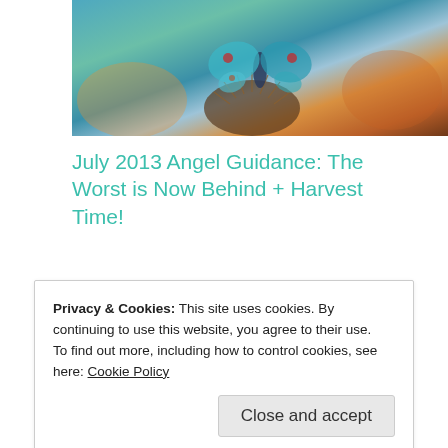[Figure (photo): Close-up photo of a butterfly on a flower, with teal/blue, orange/brown colors]
July 2013 Angel Guidance: The Worst is Now Behind + Harvest Time!
2013/07/02
In "Abundance"
Ascension, Courageous Creators, Urantia Gaïa
Privacy & Cookies: This site uses cookies. By continuing to use this website, you agree to their use.
To find out more, including how to control cookies, see here: Cookie Policy
Close and accept